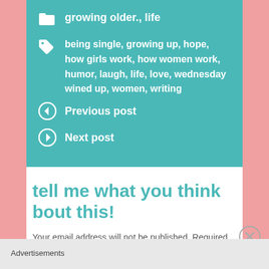growing older., life
being single, growing up, hope, how girls work, how women work, humor, laugh, life, love, wednesday wined up, women, writing
Previous post
Next post
tell me what you think bout this!
Your email address will not be published. Required fields are marked
Advertisements